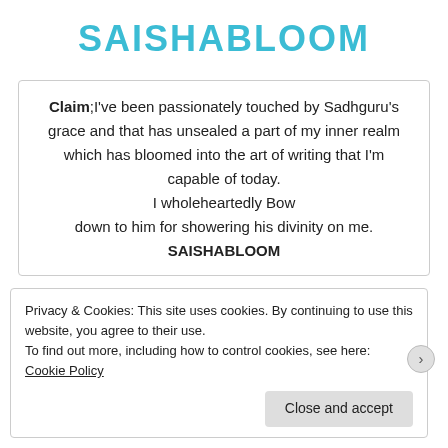SAISHABLOOM
Claim:I've been passionately touched by Sadhguru's grace and that has unsealed a part of my inner realm which has bloomed into the art of writing that I'm capable of today.
I wholeheartedly Bow
down to him for showering his divinity on me.
SAISHABLOOM
Privacy & Cookies: This site uses cookies. By continuing to use this website, you agree to their use.
To find out more, including how to control cookies, see here: Cookie Policy
Close and accept